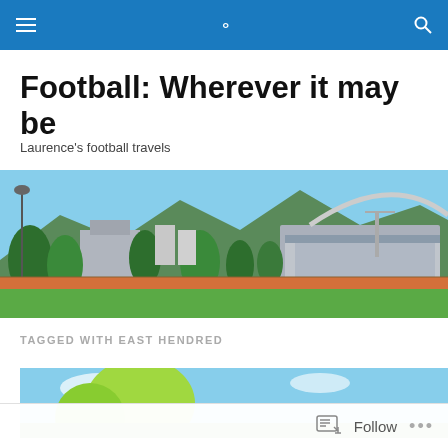Football: Wherever it may be — navigation bar
Football: Wherever it may be
Laurence's football travels
[Figure (photo): Panoramic view of a stadium with an arched roof, surrounded by trees and mountains in the background under a blue sky]
TAGGED WITH EAST HENDRED
[Figure (photo): Partial view of a football pitch with blue sky and greenery visible]
Follow ...